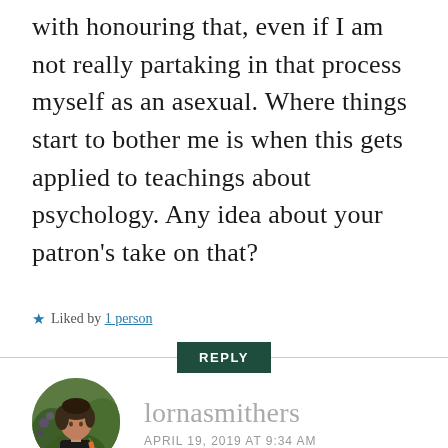with honouring that, even if I am not really partaking in that process myself as an asexual. Where things start to bother me is when this gets applied to teachings about psychology. Any idea about your patron's take on that?
★ Liked by 1 person
REPLY
lornasmithers
APRIL 19, 2019 AT 9:34 AM